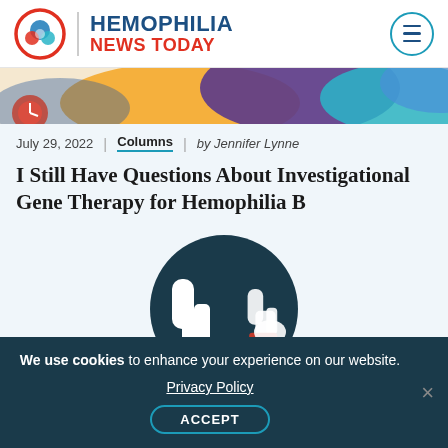HEMOPHILIA NEWS TODAY
[Figure (illustration): Colorful abstract banner with shapes in orange, purple, teal, and blue. A red clock or gauge visible on the left.]
July 29, 2022 | Columns | by Jennifer Lynne
I Still Have Questions About Investigational Gene Therapy for Hemophilia B
[Figure (illustration): Dark navy circular illustration showing two hands giving thumbs up gestures, wearing red cuffs.]
We use cookies to enhance your experience on our website.
Privacy Policy
ACCEPT